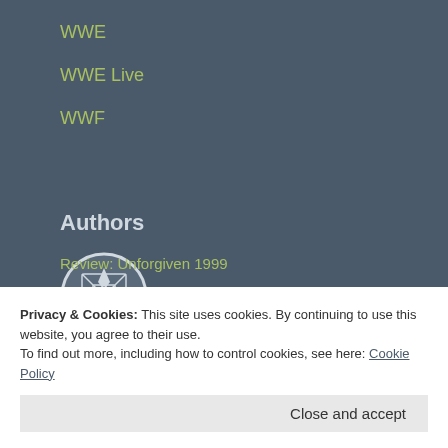WWE
WWE Live
WWF
Authors
[Figure (illustration): Circular avatar with decorative geometric pattern in blue/grey tones]
adorableadrianadonis
Bring Back Vignettes
Privacy & Cookies: This site uses cookies. By continuing to use this website, you agree to their use.
To find out more, including how to control cookies, see here: Cookie Policy
Close and accept
Review: Unforgiven 1999